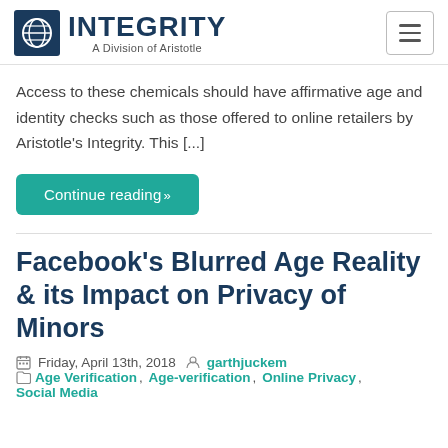INTEGRITY — A Division of Aristotle
Access to these chemicals should have affirmative age and identity checks such as those offered to online retailers by Aristotle's Integrity. This [...]
Continue reading»
Facebook's Blurred Age Reality & its Impact on Privacy of Minors
Friday, April 13th, 2018  garthjuckem  Age Verification, Age-verification, Online Privacy, Social Media